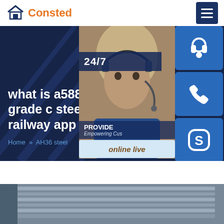Consted
what is a588 grade c steel for railway app
Home » AH36 steel
[Figure (photo): Customer service representative with headset, 24/7 support banner, and online live chat widget with phone and Skype icons]
[Figure (photo): Steel sheets/plates stacked in a warehouse, viewed from perspective angle]